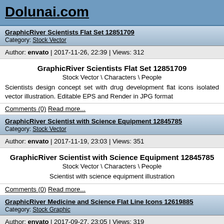Dolunai.com
GraphicRiver Scientists Flat Set 12851709
Category: Stock Vector
Author: envato | 2017-11-26, 22:39 | Views: 312
GraphicRiver Scientists Flat Set 12851709
Stock Vector \ Characters \ People
Scientists design concept set with drug development flat icons isolated vector illustration. Editable EPS and Render in JPG format
Comments (0) Read more...
GraphicRiver Scientist with Science Equipment 12845785
Category: Stock Vector
Author: envato | 2017-11-19, 23:03 | Views: 351
GraphicRiver Scientist with Science Equipment 12845785
Stock Vector \ Characters \ People
Scientist with science equipment illustration
Comments (0) Read more...
GraphicRiver Medicine and Science Flat Line Icons 12619885
Category: Stock Graphic
Author: envato | 2017-09-27, 23:05 | Views: 319